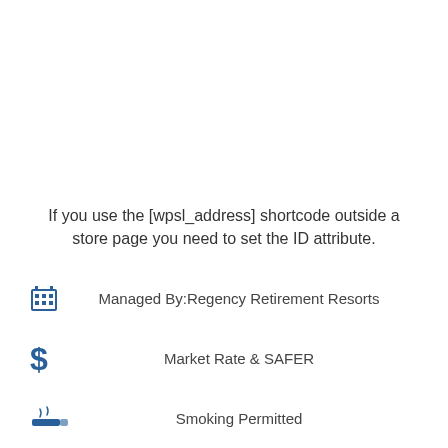If you use the [wpsl_address] shortcode outside a store page you need to set the ID attribute.
Managed By:Regency Retirement Resorts
Market Rate & SAFER
Smoking Permitted